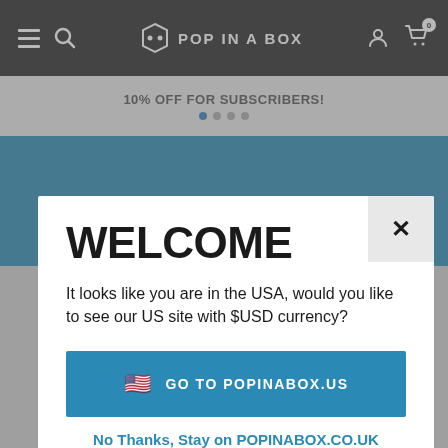POP IN A BOX
10% OFF FOR SUBSCRIBERS!
WELCOME
It looks like you are in the USA, would you like to see our US site with $USD currency?
GO TO POPINABOX.US
No Thanks, Stay on POPINABOX.CO.UK